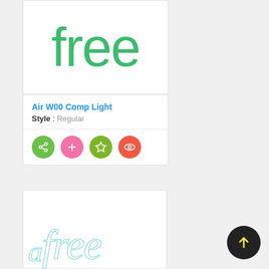[Figure (screenshot): Font preview card showing 'free' in large green rounded sans-serif letters (Air W00 Comp Light)]
Air W00 Comp Light
Style : Regular
[Figure (screenshot): Action buttons: share (green), add (pink), star (olive green), view (red/orange)]
[Figure (screenshot): Font preview card showing 'free' in thin outline teal italic serif letters plus a decorative 'a']
[Figure (other): Floating action button with upward arrow on dark circle background]